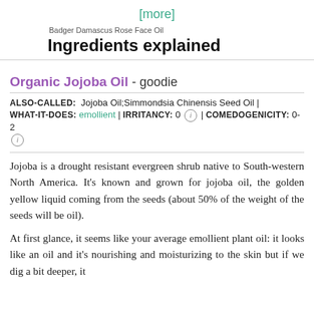[more]
Badger Damascus Rose Face Oil
Ingredients explained
Organic Jojoba Oil - goodie
ALSO-CALLED: Jojoba Oil;Simmondsia Chinensis Seed Oil |
WHAT-IT-DOES: emollient | IRRITANCY: 0 (i) | COMEDOGENICITY: 0-2 (i)
Jojoba is a drought resistant evergreen shrub native to South-western North America. It's known and grown for jojoba oil, the golden yellow liquid coming from the seeds (about 50% of the weight of the seeds will be oil).
At first glance, it seems like your average emollient plant oil: it looks like an oil and it's nourishing and moisturizing to the skin but if we dig a bit deeper, it